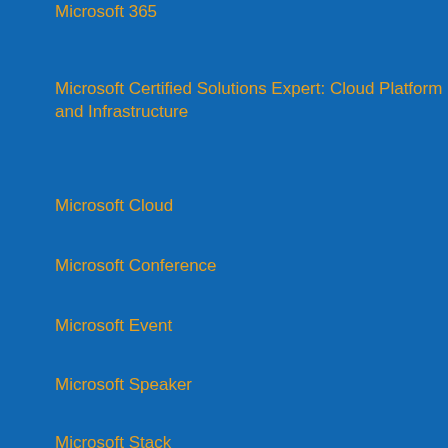Microsoft 365
Microsoft Certified Solutions Expert: Cloud Platform and Infrastructure
Microsoft Cloud
Microsoft Conference
Microsoft Event
Microsoft Speaker
Microsoft Stack
Microsoft Teams
Microsoft Training